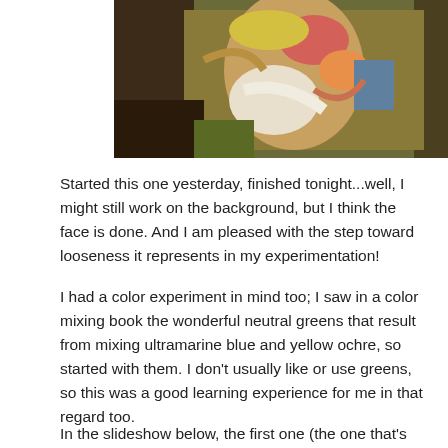[Figure (photo): A painting showing a face/figure with loose brushwork; colors include yellow, green, orange, red, white, and brown tones.]
Started this one yesterday, finished tonight...well, I might still work on the background, but I think the face is done. And I am pleased with the step toward looseness it represents in my experimentation!
I had a color experiment in mind too; I saw in a color mixing book the wonderful neutral greens that result from mixing ultramarine blue and yellow ochre, so started with them. I don't usually like or use greens, so this was a good learning experience for me in that regard too.
In the slideshow below, the first one (the one that's